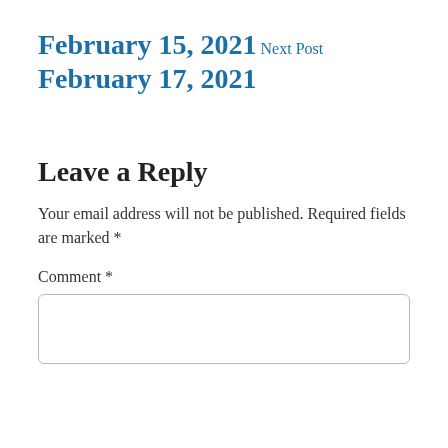February 15, 2021
Next Post
February 17, 2021
Leave a Reply
Your email address will not be published. Required fields are marked *
Comment *